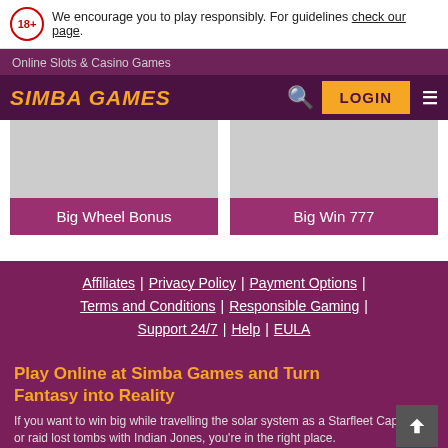We encourage you to play responsibly. For guidelines check our page.
Online Slots & Casino Games
SIMBA GAMES
[Figure (screenshot): Big Wheel Bonus game card thumbnail (grey placeholder image with purple label)]
[Figure (screenshot): Big Win 777 game card thumbnail (grey placeholder image with purple label)]
Affiliates | Privacy Policy | Payment Options | Terms and Conditions | Responsible Gaming | Support 24/7 | Help | EULA
Play Online at Simba Games and Turn Fantasy into Reality
If you want to win big while travelling the solar system as a Starfleet Captain, or raid lost tombs with Indian Jones, you're in the right place.